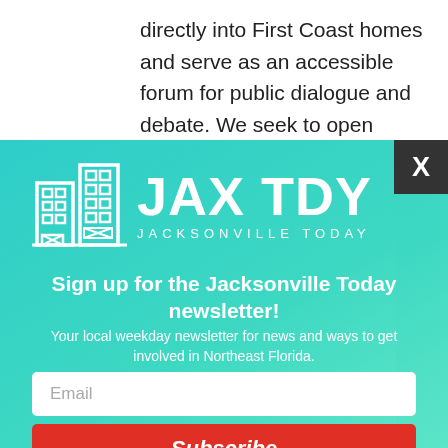directly into First Coast homes and serve as an accessible forum for public dialogue and debate. We seek to open minds, promote
[Figure (logo): JAX TDY Jacksonville Today logo with white building icons on teal/cyan gradient background]
Sign up for the Jacksonville Today newsletter!
Your local weekday newsletter for news and ways to get involved in Northeast Florida.
Email
Subscribe